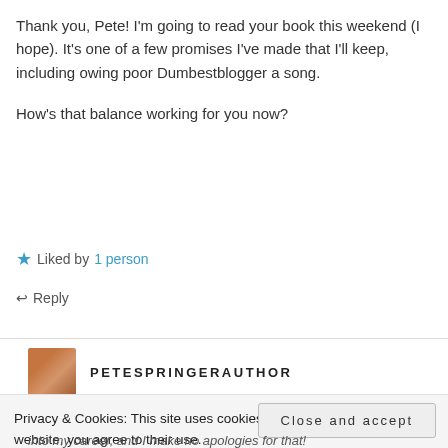Thank you, Pete! I'm going to read your book this weekend (I hope). It's one of a few promises I've made that I'll keep, including owing poor Dumbestblogger a song.
How's that balance working for you now?
★ Liked by 1 person
↩ Reply
PETESPRINGERAUTHOR
Privacy & Cookies: This site uses cookies. By continuing to use this website, you agree to their use.
To find out more, including how to control cookies, see here: Cookie Policy
Close and accept
into my career, and I make no apologies for that!